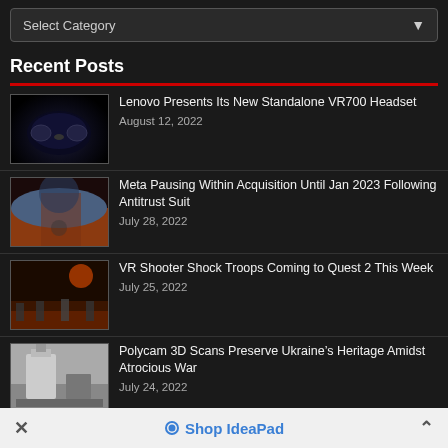Select Category
Recent Posts
Lenovo Presents Its New Standalone VR700 Headset — August 12, 2022
Meta Pausing Within Acquisition Until Jan 2023 Following Antitrust Suit — July 28, 2022
VR Shooter Shock Troops Coming to Quest 2 This Week — July 25, 2022
Polycam 3D Scans Preserve Ukraine’s Heritage Amidst Atrocious War — July 24, 2022
Microsoft Shifts to a Software-Led Metaverse Strategy — July 24, 2022
Shop IdeaPad